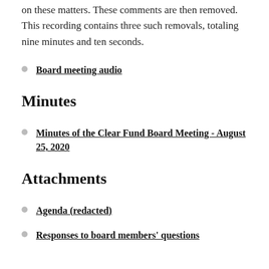on these matters. These comments are then removed. This recording contains three such removals, totaling nine minutes and ten seconds.
Board meeting audio
Minutes
Minutes of the Clear Fund Board Meeting - August 25, 2020
Attachments
Agenda (redacted)
Responses to board members' questions